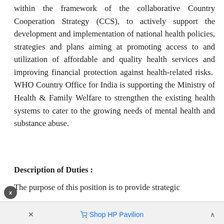within the framework of the collaborative Country Cooperation Strategy (CCS), to actively support the development and implementation of national health policies, strategies and plans aiming at promoting access to and utilization of affordable and quality health services and improving financial protection against health-related risks. WHO Country Office for India is supporting the Ministry of Health & Family Welfare to strengthen the existing health systems to cater to the growing needs of mental health and substance abuse.
Description of Duties :
The purpose of this position is to provide strategic